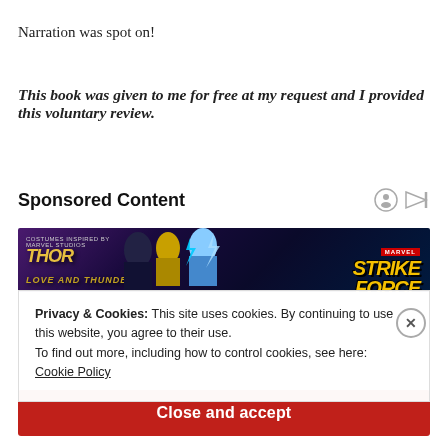Narration was spot on!
This book was given to me for free at my request and I provided this voluntary review.
Sponsored Content
[Figure (screenshot): Marvel Strike Force advertisement banner with Thor and Strike Force characters on a purple/dark background]
Privacy & Cookies: This site uses cookies. By continuing to use this website, you agree to their use.
To find out more, including how to control cookies, see here:
Cookie Policy
Close and accept